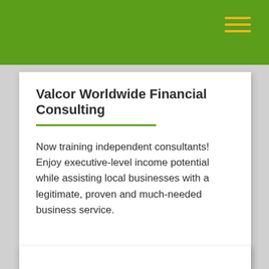Valcor Worldwide Financial Consulting — navigation header with hamburger menu
Valcor Worldwide Financial Consulting
Now training independent consultants! Enjoy executive-level income potential while assisting local businesses with a legitimate, proven and much-needed business service.
CONTACT A REPRESENTATIVE